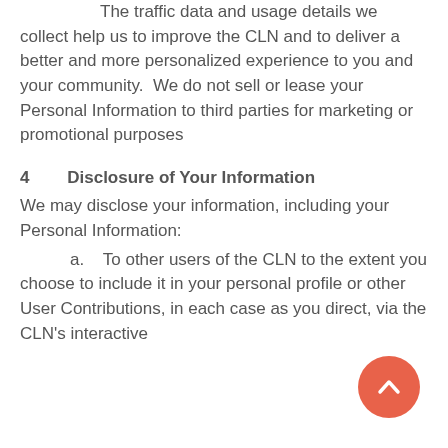The traffic data and usage details we collect help us to improve the CLN and to deliver a better and more personalized experience to you and your community.  We do not sell or lease your Personal Information to third parties for marketing or promotional purposes
4        Disclosure of Your Information
We may disclose your information, including your Personal Information:
a.    To other users of the CLN to the extent you choose to include it in your personal profile or other User Contributions, in each case as you direct, via the CLN's interactive